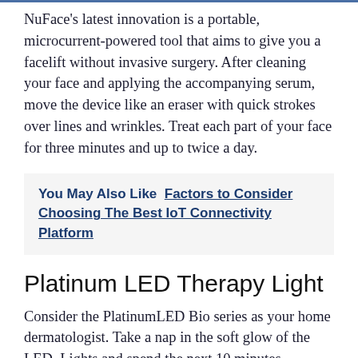NuFace's latest innovation is a portable, microcurrent-powered tool that aims to give you a facelift without invasive surgery. After cleaning your face and applying the accompanying serum, move the device like an eraser with quick strokes over lines and wrinkles. Treat each part of your face for three minutes and up to twice a day.
You May Also Like  Factors to Consider Choosing The Best IoT Connectivity Platform
Platinum LED Therapy Light
Consider the PlatinumLED Bio series as your home dermatologist. Take a nap in the soft glow of the LED. Lights and spend the next 10 minutes